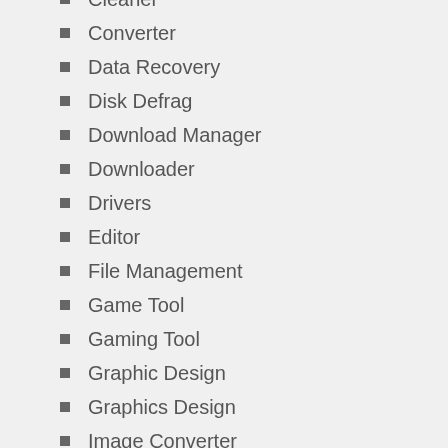Cleaner
Converter
Data Recovery
Disk Defrag
Download Manager
Downloader
Drivers
Editor
File Management
Game Tool
Gaming Tool
Graphic Design
Graphics Design
Image Converter
Language Software
Live Streaming Tool
Mac